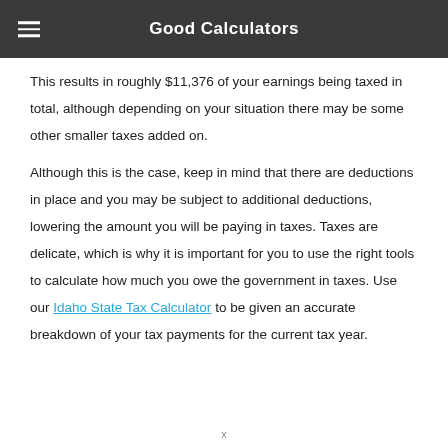Good Calculators
This results in roughly $11,376 of your earnings being taxed in total, although depending on your situation there may be some other smaller taxes added on.
Although this is the case, keep in mind that there are deductions in place and you may be subject to additional deductions, lowering the amount you will be paying in taxes. Taxes are delicate, which is why it is important for you to use the right tools to calculate how much you owe the government in taxes. Use our Idaho State Tax Calculator to be given an accurate breakdown of your tax payments for the current tax year.